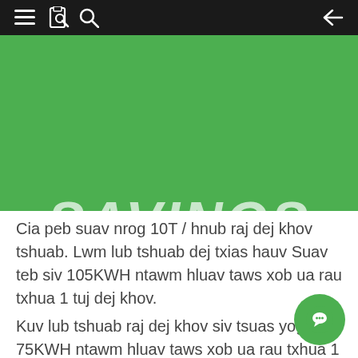navigation bar with menu, bookmark, search, and back icons
[Figure (illustration): Green circular banner showing 'SAVINGS TECHNOLOGY' text in white on a green background, partially cropped at top]
Cia peb suav nrog 10T / hnub raj dej khov tshuab. Lwm lub tshuab dej txias hauv Suav teb siv 105KWH ntawm hluav taws xob ua rau txhua 1 tuj dej khov.
Kuv lub tshuab raj dej khov siv tsuas yog 75KWH ntawm hluav taws xob ua rau txhua 1 tuj dej khov.
Qhov sib txawv ntawm kev ua txhua 1 tuj ntawm cov kav dej khov yog 30KWH ntawm hluav taws xob.
Yog li txhua hnub, qhov sib txawv ntawm kev hluav taws xob yog 30x10 = 300KWH.